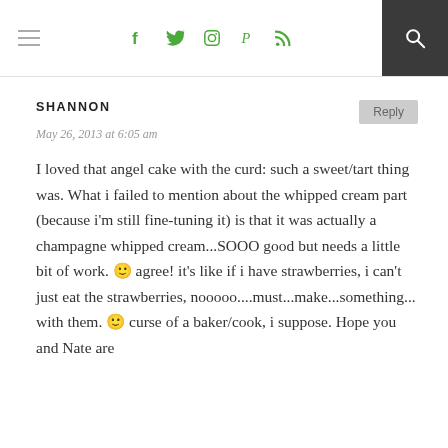Navigation header with hamburger menu, social icons (f, twitter, instagram, pinterest, rss), and search button
SHANNON
May 26, 2013 at 6:05 am
I loved that angel cake with the curd: such a sweet/tart thing was. What i failed to mention about the whipped cream part (because i'm still fine-tuning it) is that it was actually a champagne whipped cream...SOOO good but needs a little bit of work. 🙂 agree! it's like if i have strawberries, i can't just eat the strawberries, nooooo....must...make...something... with them. 🙂 curse of a baker/cook, i suppose. Hope you and Nate are